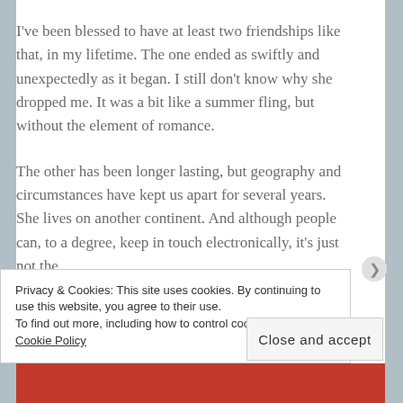I've been blessed to have at least two friendships like that, in my lifetime.  The one ended as swiftly and unexpectedly as it began.  I still don't know why she dropped me.  It was a bit like a summer fling, but without the element of romance.
The other has been longer lasting, but geography and circumstances have kept us apart for several years.  She lives on another continent.  And although people can, to a degree, keep in touch electronically, it's just not the
Privacy & Cookies: This site uses cookies. By continuing to use this website, you agree to their use.
To find out more, including how to control cookies, see here: Cookie Policy
Close and accept